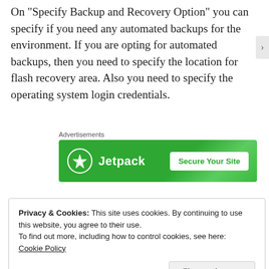On "Specify Backup and Recovery Option" you can specify if you need any automated backups for the environment. If you are opting for automated backups, then you need to specify the location for flash recovery area. Also you need to specify the operating system login credentials.
[Figure (other): Jetpack advertisement banner with green background showing Jetpack logo and 'Secure Your Site' call-to-action button, preceded by 'Advertisements' label]
Privacy & Cookies: This site uses cookies. By continuing to use this website, you agree to their use.
To find out more, including how to control cookies, see here:
Cookie Policy

Close and accept